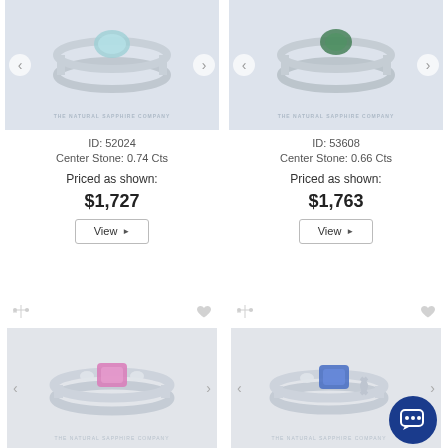[Figure (photo): Ring with light blue/teal center stone on white background, The Natural Sapphire Company watermark, ID 52024]
ID: 52024
Center Stone: 0.74 Cts
Priced as shown:
$1,727
View
[Figure (photo): Ring with dark green center stone on white background, The Natural Sapphire Company watermark, ID 53608]
ID: 53608
Center Stone: 0.66 Cts
Priced as shown:
$1,763
View
[Figure (photo): Ring with pink/purple center stone flanked by small diamonds, on white background]
[Figure (photo): Ring with blue cushion center stone with diamond accents, on white background, with chat bubble overlay]